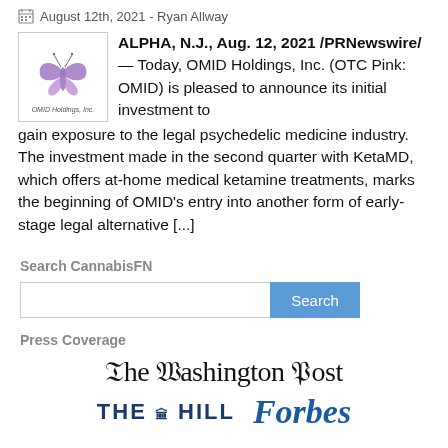August 12th, 2021 - Ryan Allway
ALPHA, N.J., Aug. 12, 2021 /PRNewswire/ — Today, OMID Holdings, Inc. (OTC Pink: OMID) is pleased to announce its initial investment to gain exposure to the legal psychedelic medicine industry. The investment made in the second quarter with KetaMD, which offers at-home medical ketamine treatments, marks the beginning of OMID's entry into another form of early-stage legal alternative [...]
Search CannabisFN
Press Coverage
[Figure (logo): The Washington Post logo in serif blackletter font]
[Figure (logo): The Hill logo in bold blue capitals and Forbes logo in blue italic serif]